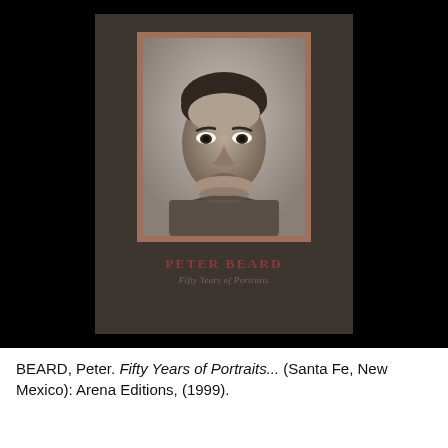[Figure (photo): Book cover of 'Peter Beard: Fifty Years of Portraits' showing a black-and-white portrait photograph of a young man on a dark brown cloth-covered hardcover book. The title 'PETER BEARD' appears in dark red/maroon capital letters and subtitle 'Fifty Years of Portraits' in italic below.]
BEARD, Peter. Fifty Years of Portraits... (Santa Fe, New Mexico): Arena Editions, (1999).